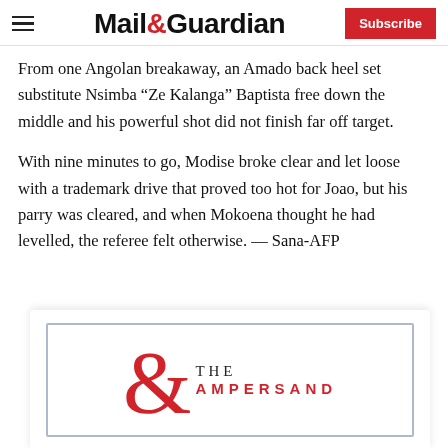Mail&Guardian | Subscribe
From one Angolan breakaway, an Amado back heel set substitute Nsimba “Ze Kalanga” Baptista free down the middle and his powerful shot did not finish far off target.
With nine minutes to go, Modise broke clear and let loose with a trademark drive that proved too hot for Joao, but his parry was cleared, and when Mokoena thought he had levelled, the referee felt otherwise. — Sana-AFP
[Figure (logo): The Ampersand logo — a large red ampersand symbol with the text 'THE AMPERSAND' in serif and sans-serif lettering, inside a bordered box.]